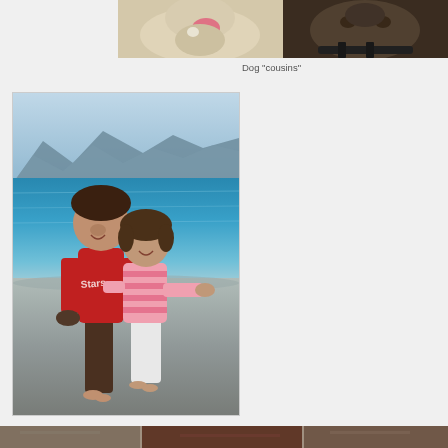[Figure (photo): Two dogs side by side — a light-colored dog on the left and a dark-colored dog on the right, cropped to show faces/upper bodies]
Dog "cousins"
[Figure (photo): Two young girls standing at a beach or lake shore, smiling. One wears a red Stars shirt and dark skirt, the other a pink and white striped top with white capri pants. Mountains and blue water visible in the background.]
[Figure (photo): Partial image visible at the very bottom of the page, appears to be another photo strip]